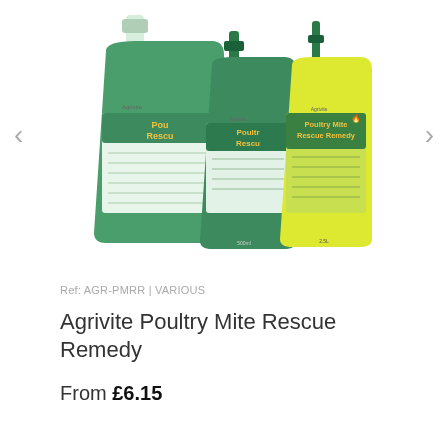[Figure (photo): Three Agrivite Poultry Mite Rescue Remedy bottles of different sizes arranged together: a large green 5-litre jug on the left, a medium green 500ml bottle in the middle, and a small yellow 250ml bottle in front on the right. All have green and yellow labels reading 'Poultry Mite Rescue Remedy'.]
Ref: AGR-PMRR | VARIOUS
Agrivite Poultry Mite Rescue Remedy
From £6.15